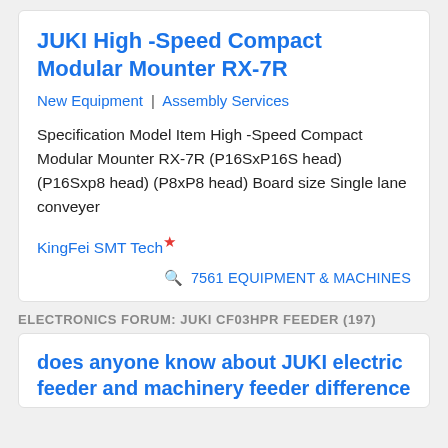JUKI High -Speed Compact Modular Mounter RX-7R
New Equipment | Assembly Services
Specification Model Item High -Speed Compact Modular Mounter RX-7R (P16SxP16S head) (P16Sxp8 head) (P8xP8 head) Board size Single lane conveyer
KingFei SMT Tech*
🔍 7561 EQUIPMENT & MACHINES
ELECTRONICS FORUM: JUKI CF03HPR FEEDER (197)
does anyone know about JUKI electric feeder and machinery feeder difference